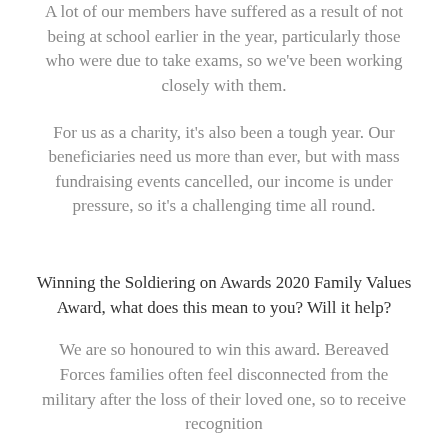A lot of our members have suffered as a result of not being at school earlier in the year, particularly those who were due to take exams, so we've been working closely with them.
For us as a charity, it's also been a tough year. Our beneficiaries need us more than ever, but with mass fundraising events cancelled, our income is under pressure, so it's a challenging time all round.
Winning the Soldiering on Awards 2020 Family Values Award, what does this mean to you? Will it help?
We are so honoured to win this award. Bereaved Forces families often feel disconnected from the military after the loss of their loved one, so to receive recognition